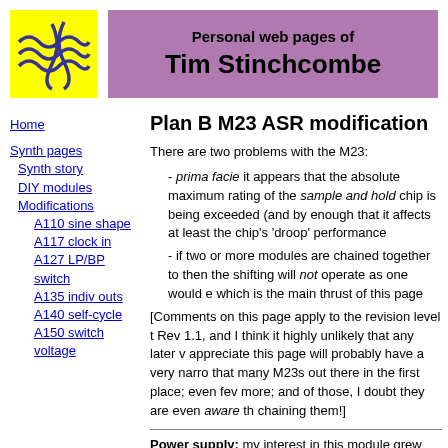[Figure (logo): Yellow square logo with blue wavy lines crossing each other]
Personal web pages of Tim Stinchcombe
Home
Synth pages
Synth story
DIY modules
Modifications
A110 sine shape
A117 clock in
A127 LP/BP switch
A135 indiv outs
A140 self-cycle
A150 switch voltage
Plan B M23 ASR modification
There are two problems with the M23:
- prima facie it appears that the absolute maximum rating of the sample and hold chip is being exceeded (and by enough that it affects at least the chip's 'droop' performance
- if two or more modules are chained together to form a shift register, then the shifting will not operate as one would expect, which is the main thrust of this page
[Comments on this page apply to the revision level that I have, Rev 1.1, and I think it highly unlikely that any later v... appreciate this page will probably have a very narrow... that many M23s out there in the first place; even few... more; and of those, I doubt they are even aware tha... chaining them!]
Power supply: my interest in this module grew out... could be safely run from ±15V split supplies. A quick...